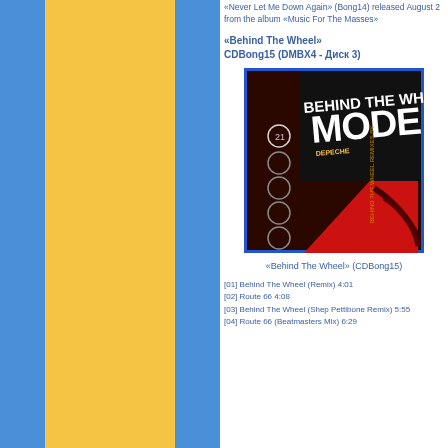«Never Let Me Down Again» (Bong14) released August 2... from the album «Music For The Masses»
«Behind The Wheel»
CDBong15 (DMBX4 - Диск 3)
[Figure (photo): Album cover of Depeche Mode 'Behind The Wheel' single (CDBong15), featuring white and red graphic design on dark background with circle motifs]
«Behind The Wheel» (CDBong15)
[01] Behind The Wheel (Remix) 4:01
[02] Route 66 4:08
[03] Behind The Wheel (Shep Pettibone Remix) 5:55
[04] Route 66 (Beatmasters Mix) 6:29